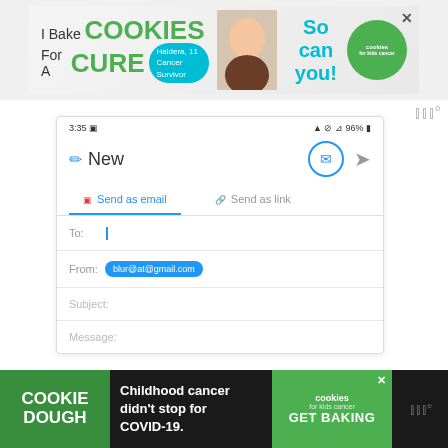[Figure (screenshot): Top advertisement banner: 'I Bake COOKIES For A CURE' with child photo and 'So can you!' text and cookies for kids cancer logo]
[Figure (screenshot): Mobile app screenshot showing a new email compose window with tabs 'Send as email' and 'Send as link', fields for To, From (blur@at.com), Subject, and Message]
[Figure (screenshot): Bottom advertisement banner: 'COOKIE DOUGH' green block, 'Childhood cancer didn't stop for COVID-19.' text, cookies for kids cancer logo and 'GET BAKING' button]